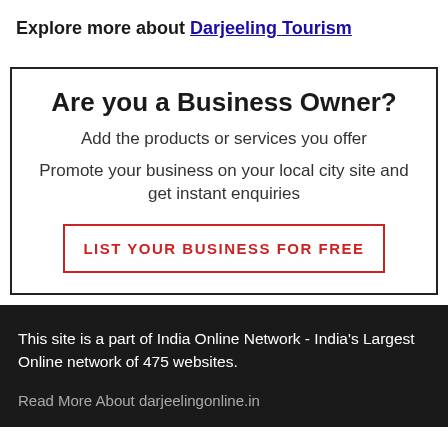Explore more about  Darjeeling Tourism
Are you a Business Owner?
Add the products or services you offer
Promote your business on your local city site and get instant enquiries
LIST YOUR BUSINESS FOR FREE
This site is a part of India Online Network - India's Largest Online network of 475 websites.
Read More About darjeelingonline.in